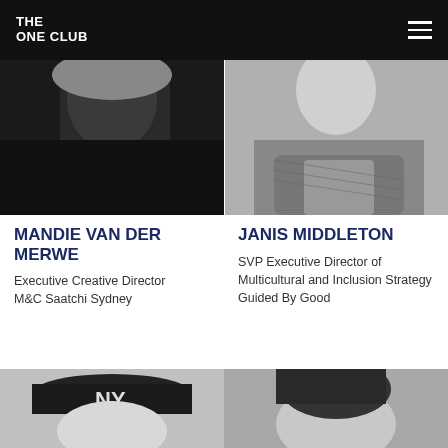THE ONE CLUB
[Figure (photo): Black and white photo of Mandie Van Der Merwe, partially visible, dark clothing, blonde hair]
[Figure (photo): Black and white photo of Janis Middleton, close-up of neck/collar area with denim jacket]
MANDIE VAN DER MERWE
Executive Creative Director
M&C Saatchi Sydney
JANIS MIDDLETON
SVP Executive Director of Multicultural and Inclusion Strategy
Guided By Good
[Figure (photo): Black and white photo showing two people side by side: left person wearing a NY Yankees cap, right person a woman with dark hair, both looking up]